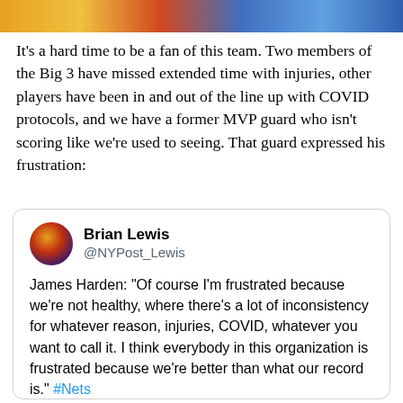[Figure (photo): Colorful banner image at top of article]
It's a hard time to be a fan of this team. Two members of the Big 3 have missed extended time with injuries, other players have been in and out of the line up with COVID protocols, and we have a former MVP guard who isn't scoring like we're used to seeing. That guard expressed his frustration:
[Figure (screenshot): Embedded tweet by Brian Lewis (@NYPost_Lewis) quoting James Harden: 'Of course I'm frustrated because we're not healthy, where there's a lot of inconsistency for whatever reason, injuries, COVID, whatever you want to call it. I think everybody in this organization is frustrated because we're better than what our record is.' #Nets — January 26th 2022, with a Subscribe button]